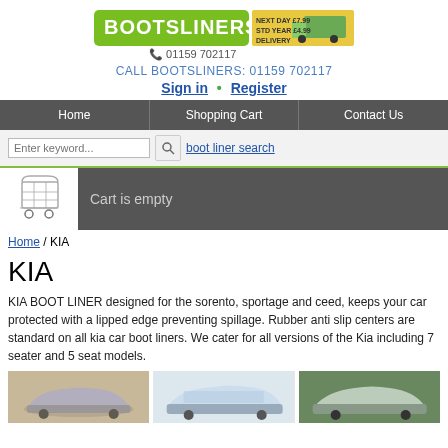[Figure (logo): BOOTSLINERS logo with green background and delivery truck graphic, phone number 01159 702117]
CALL BOOTSLINERS: 01159 702117
Sign in • Register
Home   Shopping Cart   Contact Us
Enter keyword...   boot liner search
[Figure (illustration): Shopping cart icon]
Cart is empty
Home / KIA
KIA
KIA BOOT LINER designed for the sorento, sportage and ceed, keeps your car protected with a lipped edge preventing spillage. Rubber anti slip centers are standard on all kia car boot liners. We cater for all versions of the Kia including 7 seater and 5 seat models.
[Figure (photo): Three car photos showing KIA vehicles]